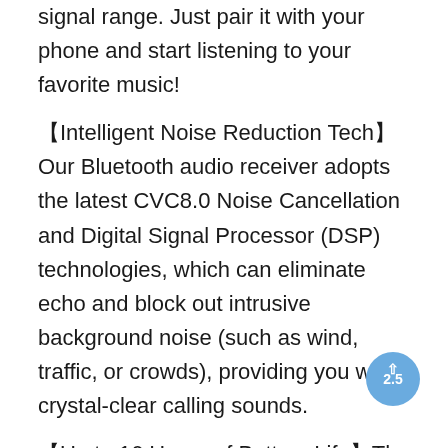signal range. Just pair it with your phone and start listening to your favorite music!
【Intelligent Noise Reduction Tech】Our Bluetooth audio receiver adopts the latest CVC8.0 Noise Cancellation and Digital Signal Processor (DSP) technologies, which can eliminate echo and block out intrusive background noise (such as wind, traffic, or crowds), providing you with crystal-clear calling sounds.
【Up to 16 Hours of Battery Life】The working time of this aux Bluetooth adapter is up to 16 hours when making calls or playing music. And it takes only 2.5 hours to fully charge the device by using a Type-C